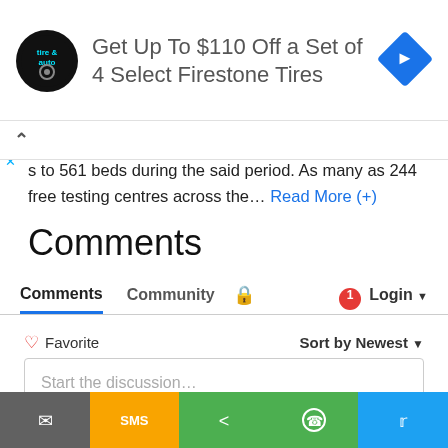[Figure (infographic): Advertisement banner: tire and auto logo circle, text 'Get Up To $110 Off a Set of 4 Select Firestone Tires', blue diamond arrow icon on right]
s to 561 beds during the said period. As many as 244 free testing centres across the… Read More (+)
Comments
Comments tab bar with Comments, Community, lock icon, notification badge 1, Login dropdown
Favorite | Sort by Newest
Start the discussion…
LOG IN WITH
[Figure (infographic): Social login icons: Disqus (blue), Facebook (dark blue), Twitter (light blue), Google (red)]
[Figure (infographic): Bottom share bar with Email (gray), SMS (orange), Share (green), WhatsApp (green), Twitter (blue) segments]